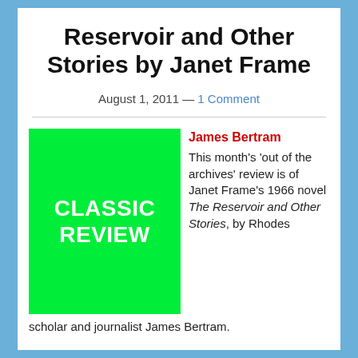Reservoir and Other Stories by Janet Frame
August 1, 2011 — 1 Comment
[Figure (illustration): Green square image with white bold text reading 'CLASSIC REVIEW']
James Bertram
This month's 'out of the archives' review is of Janet Frame's 1966 novel The Reservoir and Other Stories, by Rhodes scholar and journalist James Bertram.